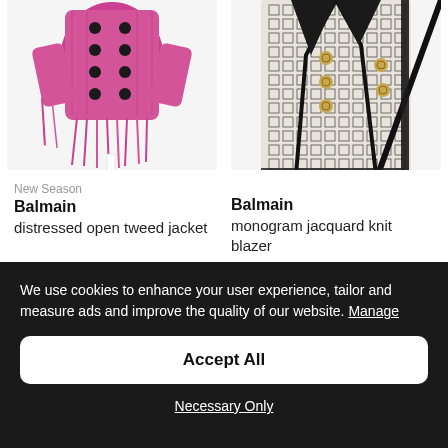[Figure (photo): Pink distressed open tweed jacket with black buttons, partially cropped at top]
[Figure (photo): Black and white monogram jacquard knit blazer with gold buttons, partially cropped at top]
New Season
Balmain
distressed open tweed jacket
Balmain
monogram jacquard knit blazer
We use cookies to enhance your user experience, tailor and measure ads and improve the quality of our website. Manage
Accept All
Necessary Only